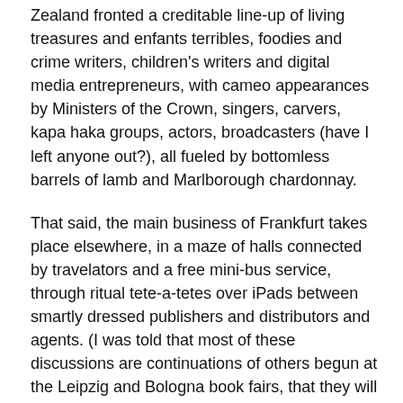Zealand fronted a creditable line-up of living treasures and enfants terribles, foodies and crime writers, children's writers and digital media entrepreneurs, with cameo appearances by Ministers of the Crown, singers, carvers, kapa haka groups, actors, broadcasters (have I left anyone out?), all fueled by bottomless barrels of lamb and Marlborough chardonnay.
That said, the main business of Frankfurt takes place elsewhere, in a maze of halls connected by travelators and a free mini-bus service, through ritual tete-a-tetes over iPads between smartly dressed publishers and distributors and agents. (I was told that most of these discussions are continuations of others begun at the Leipzig and Bologna book fairs, that they will be resumed in London and Rome and Beijing, and that 90 percent of them will come to nothing.) Though the subject of all these interchanges is books, and they are conducted in book-lined stalls displaying all the latest titles, this is not really a place for the writers of books (think of farmers in dungarees witnessing their lovingly-produced wares being sliced and diced at the Chicago Futures Exchange), nor